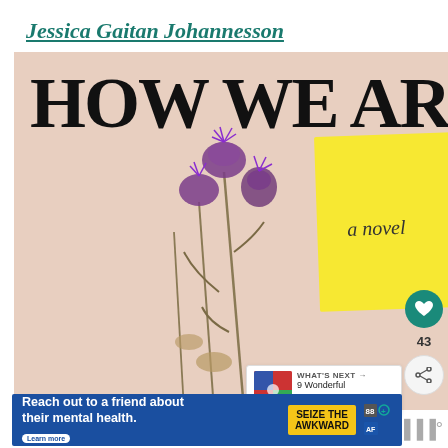Jessica Gaitan Johannesson
[Figure (photo): Book cover of 'How We Are — a novel' by Jessica Gaitan Johannesson. The cover shows large bold text 'HOW WE ARE' at the top, a yellow sticky note reading 'a novel' in the center, purple thistle flowers on the left, a glass jar outline on the right, and the author name in vertical text on the spine. Background is a pale blush/beige color.]
43
WHAT'S NEXT → 9 Wonderful Japanese...
Reach out to a friend about their mental health. Learn more | SEIZE THE AWKWARD